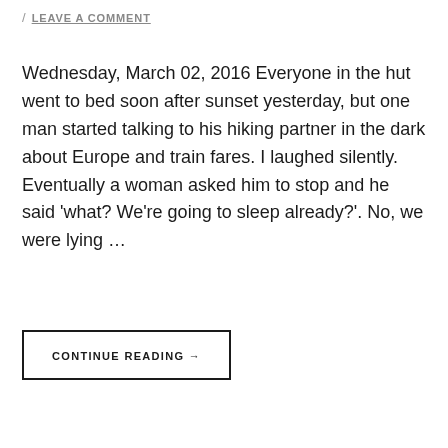/ LEAVE A COMMENT
Wednesday, March 02, 2016 Everyone in the hut went to bed soon after sunset yesterday, but one man started talking to his hiking partner in the dark about Europe and train fares. I laughed silently. Eventually a woman asked him to stop and he said 'what? We're going to sleep already?'. No, we were lying …
CONTINUE READING →